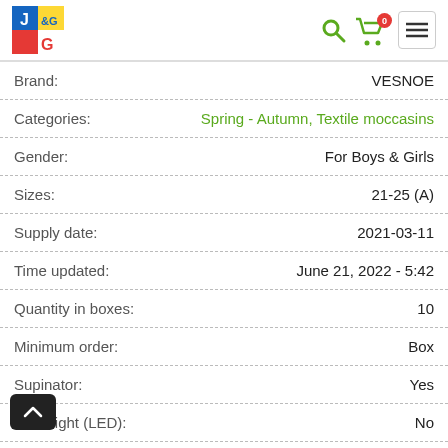J&G logo, search, cart (0), menu
| Field | Value |
| --- | --- |
| Brand: | VESNOE |
| Categories: | Spring - Autumn, Textile moccasins |
| Gender: | For Boys & Girls |
| Sizes: | 21-25 (A) |
| Supply date: | 2021-03-11 |
| Time updated: | June 21, 2022 - 5:42 |
| Quantity in boxes: | 10 |
| Minimum order: | Box |
| Supinator: | Yes |
| \Backlight (LED): | No |
| Packing each pair: | Plastic bags |